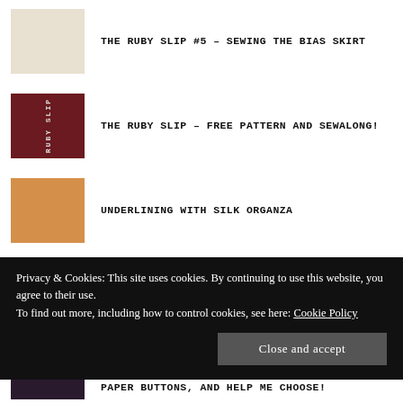THE RUBY SLIP #5 – SEWING THE BIAS SKIRT
THE RUBY SLIP – FREE PATTERN AND SEWALONG!
UNDERLINING WITH SILK ORGANZA
SWAY BACK ALTERATIONS – MY ANALYSIS
Privacy & Cookies: This site uses cookies. By continuing to use this website, you agree to their use. To find out more, including how to control cookies, see here: Cookie Policy
PAPER BUTTONS, AND HELP ME CHOOSE!